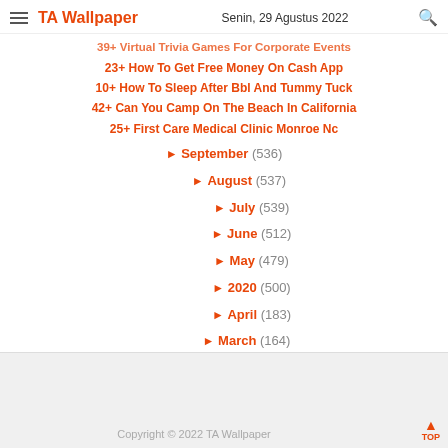TA Wallpaper | Senin, 29 Agustus 2022
39+ Virtual Trivia Games For Corporate Events
23+ How To Get Free Money On Cash App
10+ How To Sleep After Bbl And Tummy Tuck
42+ Can You Camp On The Beach In California
25+ First Care Medical Clinic Monroe Nc
► September (536)
► August (537)
► July (539)
► June (512)
► May (479)
► 2020 (500)
► April (183)
► March (164)
► February (153)
Copyright © 2022 TA Wallpaper